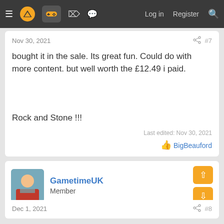≡ [logo] [controller] [grid] [chat] Log in Register [search]
Nov 30, 2021  #7
bought it in the sale. Its great fun. Could do with more content. but well worth the £12.49 i paid.



Rock and Stone !!!
Last edited: Nov 30, 2021
BigBeauford
GametimeUK
Member
Dec 1, 2021  #8